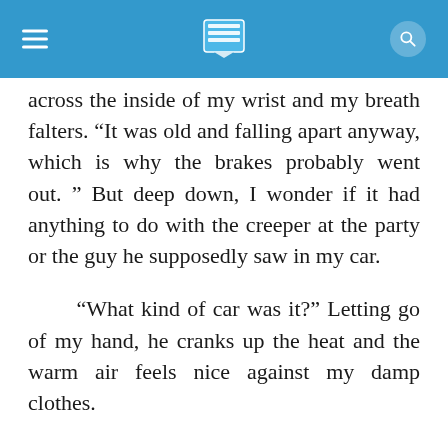[navigation bar with hamburger menu, book icon, search icon]
across the inside of my wrist and my breath falters. “It was old and falling apart anyway, which is why the brakes probably went out. ” But deep down, I wonder if it had anything to do with the creeper at the party or the guy he supposedly saw in my car.
“What kind of car was it?” Letting go of my hand, he cranks up the heat and the warm air feels nice against my damp clothes.
I wrap my arms around myself. “A 1970 Dodge Challenger. ”